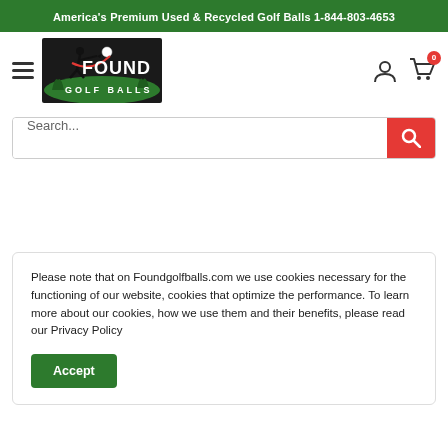America's Premium Used & Recycled Golf Balls 1-844-803-4653
[Figure (logo): Found Golf Balls logo with golfer silhouette and grass]
Search...
Please note that on Foundgolfballs.com we use cookies necessary for the functioning of our website, cookies that optimize the performance. To learn more about our cookies, how we use them and their benefits, please read our Privacy Policy
Accept